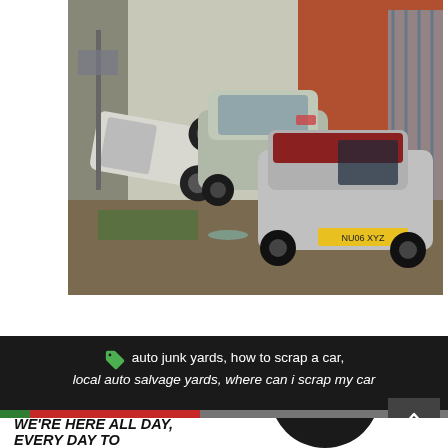[Figure (photo): Scrap yard with damaged and wrecked cars — one vehicle tipped on its nose/front, a silver hatchback, and another silver small car with broken windows and red-painted roof, all parked in a junkyard area next to a brick building and metal fence.]
auto junk yards, how to scrap a car, local auto salvage yards, where can i scrap my car
WE'RE HERE ALL DAY, EVERY DAY TO